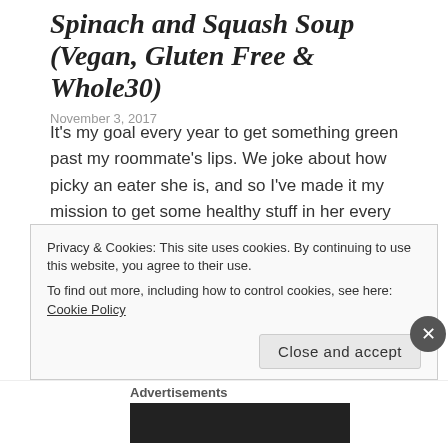Spinach and Squash Soup (Vegan, Gluten Free & Whole30)
November 3, 2017
It's my goal every year to get something green past my roommate's lips. We joke about how picky an eater she is, and so I've made it my mission to get some healthy stuff in her every once in awhile. A couple years ago, I hooked her with avocados and pistachios, and last year, I even got her to try brussel sprouts! As this year is getting closer and closer to over, I was searching for a creative way to get her to eat something green. Thanks to my CSA share, I had a huge bag of spinach and some squash. After some Pinterest searching,
Privacy & Cookies: This site uses cookies. By continuing to use this website, you agree to their use.
To find out more, including how to control cookies, see here: Cookie Policy
Close and accept
Advertisements